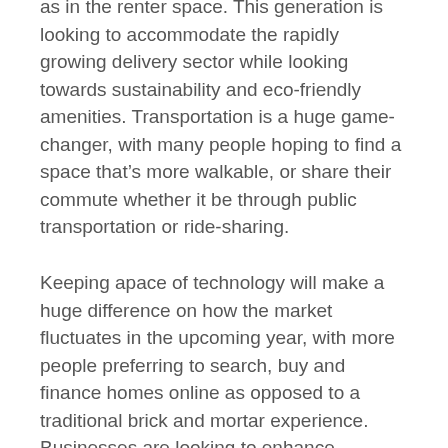opportunities for growth still, especially in suburbs outside of developing cities as well as in the renter space. This generation is looking to accommodate the rapidly growing delivery sector while looking towards sustainability and eco-friendly amenities. Transportation is a huge game-changer, with many people hoping to find a space that's more walkable, or share their commute whether it be through public transportation or ride-sharing.
Keeping apace of technology will make a huge difference on how the market fluctuates in the upcoming year, with more people preferring to search, buy and finance homes online as opposed to a traditional brick and mortar experience. Businesses are looking to enhance customer experience as the retail sector re-invents itself into an experience economy, as opposed to a retail oriented space. Technology's impact on safety, and building efficiency has already begun to play a large role, but the next step will be